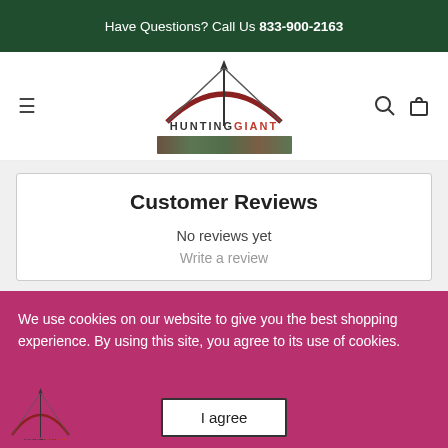Have Questions? Call Us 833-900-2163
[Figure (logo): HuntingGiant logo with bow and arrow graphic and text HUNTINGGIANT]
Customer Reviews
No reviews yet
Write a review
We use cookies on our website to give you the best shopping experience. By using this site, you agree to its use of cookies.
I agree
[Figure (logo): HuntingGiant partial logo visible at bottom left]